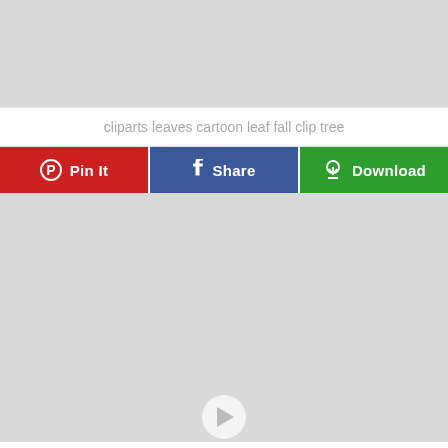[Figure (photo): Gray placeholder image block at top of page]
cliparts leaves cartoon leaf fall clip tree
[Figure (other): Row of three action buttons: Pin It (red), Share (blue), Download (green)]
[Figure (photo): Gray placeholder image block at bottom of page with a small partially visible icon at the bottom center]